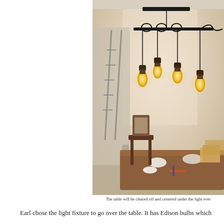[Figure (photo): A photo of a dining room with a modern industrial pendant light fixture hanging from the ceiling over a wooden dining table. The light fixture has a black horizontal bar with four Edison bulb pendants hanging at different heights. A chair with upholstered seat is visible, and the table has various items on it including boxes and tools. The walls are white/light colored.]
The table will be cleared off and centered under the light ever
Earl chose the light fixture to go over the table. It has Edison bulbs which